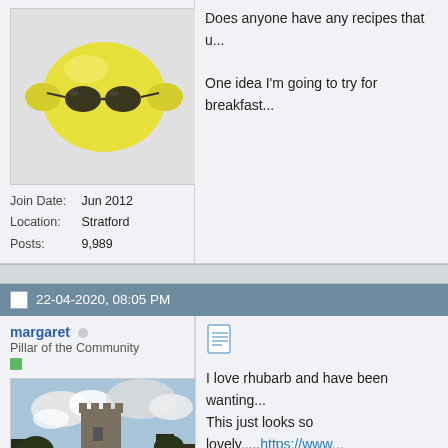[Figure (photo): Avatar image of a yellow lemon wearing sunglasses]
Join Date: Jun 2012
Location: Stratford
Posts: 9,989
Does anyone have any recipes that u...
One idea I'm going to try for breakfast...
22-04-2020, 08:05 PM
margaret
Pillar of the Community
[Figure (photo): Avatar image showing a stone tower with cloudy sky]
Join Date: Sep 2018
Posts: 2,204
I love rhubarb and have been wanting...
This just looks so lovely.....https://www...
“I doubt sometimes whether a quiet a...

- Lord Byron.